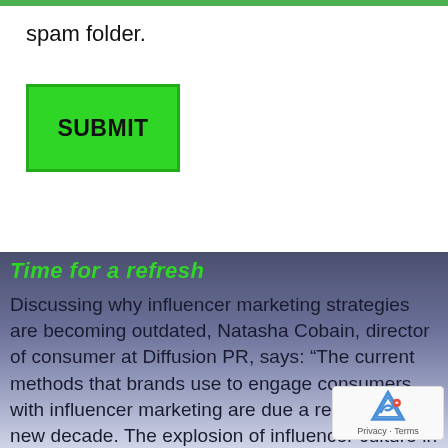spam folder.
SUBMIT
Time for a refresh
Discussing why influencer marketing strategies are becoming outdated, Natasha Cobain, director of consumer at Diffusion PR, says: “The current methods that brands use to engage consumers with influencer marketing are due a refresh for the new decade. The explosion of influencer culture in recent years has grown into something wholly different to what the industry originally intended, with influencers now being positioned on pedestals as perfect